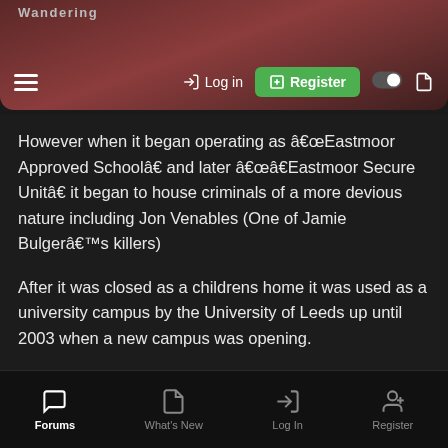Wandering
However when it began operating as “Eastmoor Approved School” and later ““Eastmoor Secure Unit” it began to house criminals of a more devious nature including Jon Venables (One of Jamie Bulger’s killers)
After it was closed as a childrens home it was used as a university campus by the University of Leeds up until 2003 when a new campus was opening.
Buildings included a swimming pool, dentists, church (later used as a gym), laundry and of course staff housing
First thing i looked for was the swimming pool
Forums  What's New  Log In  Register